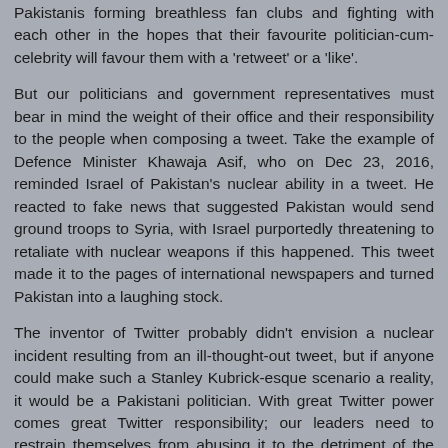Pakistanis forming breathless fan clubs and fighting with each other in the hopes that their favourite politician-cum-celebrity will favour them with a 'retweet' or a 'like'.
But our politicians and government representatives must bear in mind the weight of their office and their responsibility to the people when composing a tweet. Take the example of Defence Minister Khawaja Asif, who on Dec 23, 2016, reminded Israel of Pakistan's nuclear ability in a tweet. He reacted to fake news that suggested Pakistan would send ground troops to Syria, with Israel purportedly threatening to retaliate with nuclear weapons if this happened. This tweet made it to the pages of international newspapers and turned Pakistan into a laughing stock.
The inventor of Twitter probably didn't envision a nuclear incident resulting from an ill-thought-out tweet, but if anyone could make such a Stanley Kubrick-esque scenario a reality, it would be a Pakistani politician. With great Twitter power comes great Twitter responsibility; our leaders need to restrain themselves from abusing it to the detriment of the people they claim to serve
Reply